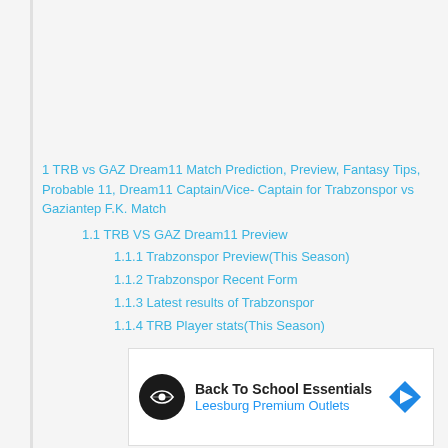1 TRB vs GAZ Dream11 Match Prediction, Preview, Fantasy Tips, Probable 11, Dream11 Captain/Vice- Captain for Trabzonspor vs Gaziantep F.K. Match
1.1 TRB VS GAZ Dream11 Preview
1.1.1 Trabzonspor Preview(This Season)
1.1.2 Trabzonspor Recent Form
1.1.3 Latest results of Trabzonspor
1.1.4 TRB Player stats(This Season)
[Figure (screenshot): Advertisement banner: Back To School Essentials, Leesburg Premium Outlets, with logo icon and directional arrow]